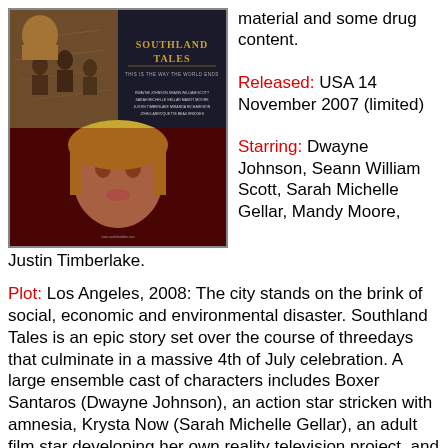[Figure (photo): Movie poster for Southland Tales showing collage of characters with the title 'Southland Tales - This is the way the world ends']
material and some drug content. Released: USA 14 November 2007 (limited) Starring: Dwayne Johnson, Seann William Scott, Sarah Michelle Gellar, Mandy Moore, Justin Timberlake.
Plot: Los Angeles, 2008: The city stands on the brink of social, economic and environmental disaster. Southland Tales is an epic story set over the course of threedays that culminate in a massive 4th of July celebration. A large ensemble cast of characters includes Boxer Santaros (Dwayne Johnson), an action star stricken with amnesia, Krysta Now (Sarah Michelle Gellar), an adult film star developing her own reality television project, and Roland Taverner (Seann William Scott), a Hermosa Beach police officer who holds the key to a vast conspiracy.